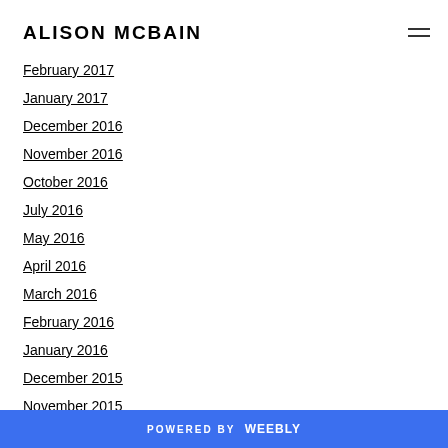ALISON MCBAIN
April 2017
March 2017
February 2017
January 2017
December 2016
November 2016
October 2016
July 2016
May 2016
April 2016
March 2016
February 2016
January 2016
December 2015
November 2015
October 2015
September 2015
POWERED BY weebly